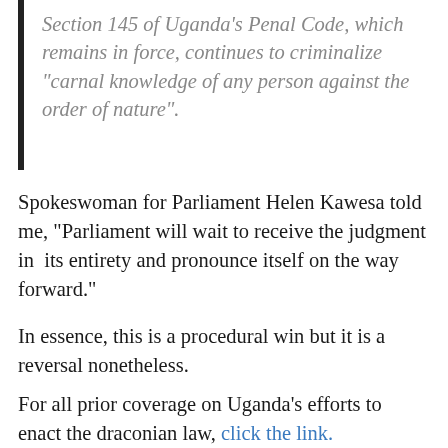Section 145 of Uganda's Penal Code, which remains in force, continues to criminalize "carnal knowledge of any person against the order of nature".
Spokeswoman for Parliament Helen Kawesa told me, "Parliament will wait to receive the judgment in its entirety and pronounce itself on the way forward."
In essence, this is a procedural win but it is a reversal nonetheless.
For all prior coverage on Uganda's efforts to enact the draconian law, click the link.